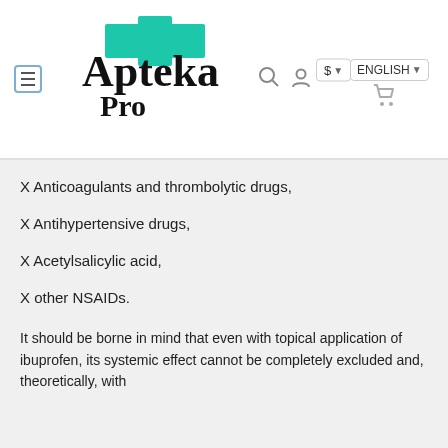Apteka Pro — navigation header with logo, search, user, currency ($), language (ENGLISH), and cart
X Anticoagulants and thrombolytic drugs,
X Antihypertensive drugs,
X Acetylsalicylic acid,
X other NSAIDs.
It should be borne in mind that even with topical application of ibuprofen, its systemic effect cannot be completely excluded and, theoretically, with